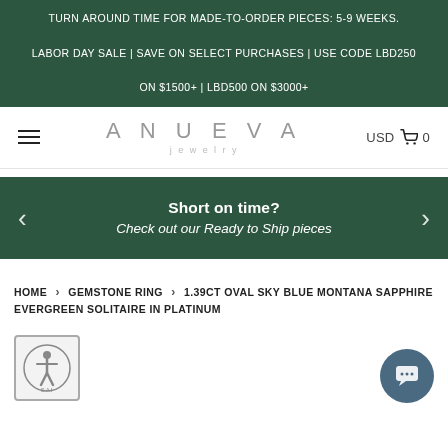TURN AROUND TIME FOR MADE-TO-ORDER PIECES: 5-9 WEEKS. LABOR DAY SALE | SAVE ON SELECT PURCHASES | USE CODE LBD250 ON $1500+ | LBD500 ON $3000+
[Figure (logo): ANUEVA Jewelry logo with hamburger menu on left and USD cart (0) on right]
[Figure (infographic): Dark green banner with left/right arrows: 'Short on time? Check out our Ready to Ship pieces']
HOME > GEMSTONE RING > 1.39CT OVAL SKY BLUE MONTANA SAPPHIRE EVERGREEN SOLITAIRE IN PLATINUM
[Figure (logo): Accessibility logo (person in circle with SAI text) in bottom left]
[Figure (other): Chat button icon in bottom right]